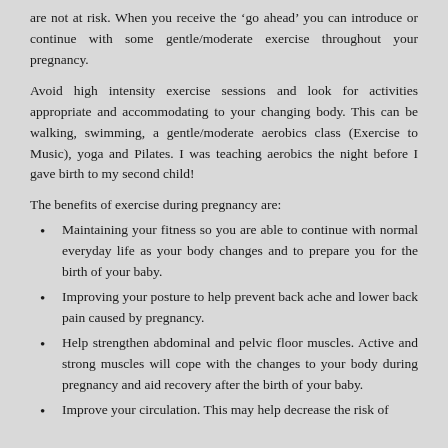are not at risk.  When you receive the ‘go ahead’ you can introduce or continue with some gentle/moderate exercise throughout your pregnancy.
Avoid high intensity exercise sessions and look for activities appropriate and accommodating to your changing body.  This can be walking, swimming, a gentle/moderate aerobics class (Exercise to Music), yoga and Pilates.  I was teaching aerobics the night before I gave birth to my second child!
The benefits of exercise during pregnancy are:
Maintaining your fitness so you are able to continue with normal everyday life as your body changes and to prepare you for the birth of your baby.
Improving your posture to help prevent back ache and lower back pain caused by pregnancy.
Help strengthen abdominal and pelvic floor muscles.  Active and strong muscles will cope with the changes to your body during pregnancy and aid recovery after the birth of your baby.
Improve your circulation.  This may help decrease the risk of